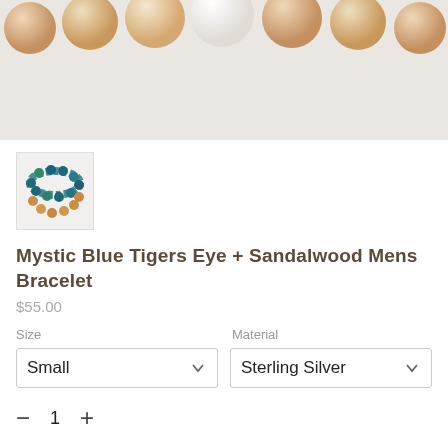[Figure (photo): Close-up photo of wooden/sandalwood beads arranged in a row, partially visible at top of frame on white background]
[Figure (photo): Thumbnail image of two bracelets stacked - one with blue/teal mystic tigers eye beads and one with golden sandalwood beads]
Mystic Blue Tigers Eye + Sandalwood Mens Bracelet
$55.00
Size
Material
Small
Sterling Silver
1